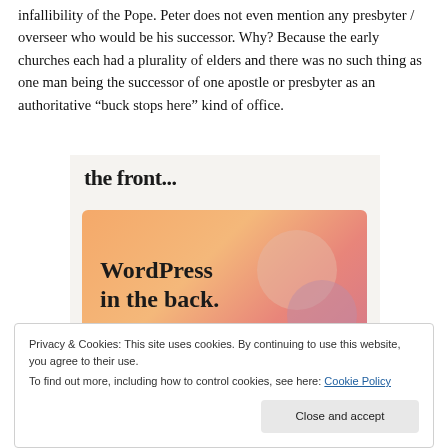infallibility of the Pope. Peter does not even mention any presbyter / overseer who would be his successor. Why? Because the early churches each had a plurality of elders and there was no such thing as one man being the successor of one apostle or presbyter as an authoritative “buck stops here” kind of office.
[Figure (screenshot): A WordPress promotional image showing text 'the front...' at top in bold serif font on light background, below which is an orange/pink gradient banner with text 'WordPress in the back.' in bold serif font, with decorative circles in pink/mauve tones.]
Privacy & Cookies: This site uses cookies. By continuing to use this website, you agree to their use.
To find out more, including how to control cookies, see here: Cookie Policy
Close and accept